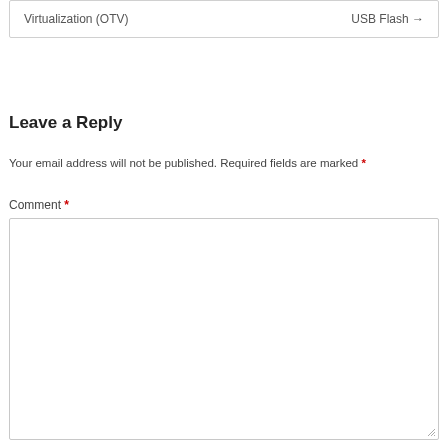Virtualization (OTV)    USB Flash →
Leave a Reply
Your email address will not be published. Required fields are marked *
Comment *